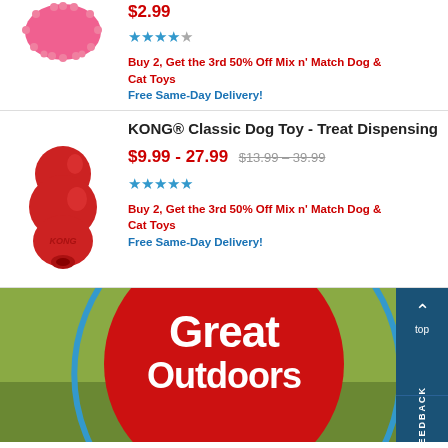[Figure (photo): Pink spiky dog toy ball, partially cropped at top]
$2.99
[Figure (other): Star rating: 4 out of 5 stars (blue stars)]
Buy 2, Get the 3rd 50% Off Mix n' Match Dog & Cat Toys
Free Same-Day Delivery!
[Figure (photo): Red KONG Classic Dog Toy - Treat Dispensing, red rubber toy]
KONG® Classic Dog Toy - Treat Dispensing
$9.99 - 27.99  $13.99 – 39.99
[Figure (other): Star rating: 4.5 out of 5 stars (blue stars)]
Buy 2, Get the 3rd 50% Off Mix n' Match Dog & Cat Toys
Free Same-Day Delivery!
[Figure (photo): Great Outdoors promotional banner with red circle, blue ring, dog in background, and FEEDBACK/top navigation buttons]